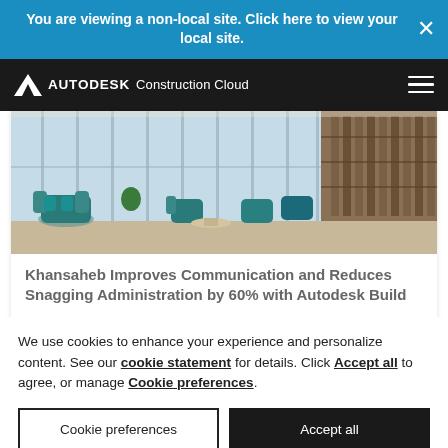You are viewing a non-local site. Click here to view your local site.
[Figure (logo): Autodesk Construction Cloud logo on black navigation bar]
[Figure (photo): Interior photo of a modern hotel or high-end building lounge with large glass windows, teal/turquoise chairs and cushions, and a library-style bookshelf wall]
Khansaheb Improves Communication and Reduces Snagging Administration by 60% with Autodesk Build
We use cookies to enhance your experience and personalize content. See our cookie statement for details. Click Accept all to agree, or manage Cookie preferences.
Cookie preferences | Accept all